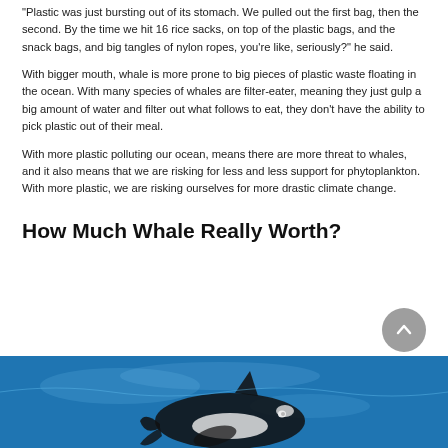"Plastic was just bursting out of its stomach. We pulled out the first bag, then the second. By the time we hit 16 rice sacks, on top of the plastic bags, and the snack bags, and big tangles of nylon ropes, you're like, seriously?" he said.
With bigger mouth, whale is more prone to big pieces of plastic waste floating in the ocean. With many species of whales are filter-eater, meaning they just gulp a big amount of water and filter out what follows to eat, they don't have the ability to pick plastic out of their meal.
With more plastic polluting our ocean, means there are more threat to whales, and it also means that we are risking for less and less support for phytoplankton. With more plastic, we are risking ourselves for more drastic climate change.
How Much Whale Really Worth?
[Figure (photo): Photo of a whale in blue ocean water, partially visible at the bottom of the page]